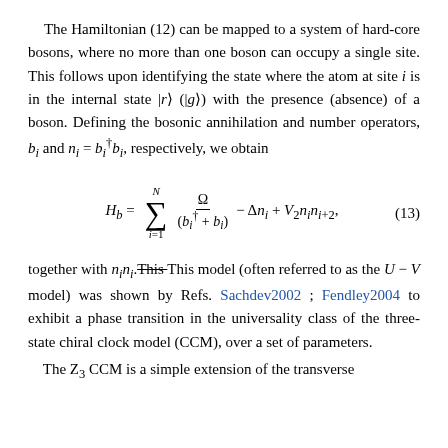The Hamiltonian (12) can be mapped to a system of hard-core bosons, where no more than one boson can occupy a single site. This follows upon identifying the state where the atom at site i is in the internal state |r⟩ (|g⟩) with the presence (absence) of a boson. Defining the bosonic annihilation and number operators, b_i and n_i = b_i† b_i, respectively, we obtain
together with n_i n_i. This model (often referred to as the U − V model) was shown by Refs. Sachdev2002 ; Fendley2004 to exhibit a phase transition in the universality class of the three-state chiral clock model (CCM), over a set of parameters.
The Z_3 CCM is a simple extension of the transverse